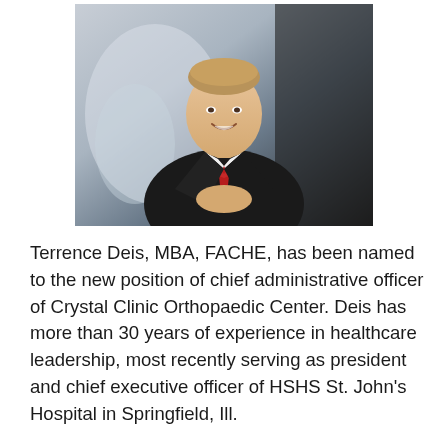[Figure (photo): Professional headshot of Terrence Deis, a man in a black suit with a red tie, smiling, with hands clasped, standing in what appears to be a modern medical or office building interior.]
Terrence Deis, MBA, FACHE, has been named to the new position of chief administrative officer of Crystal Clinic Orthopaedic Center. Deis has more than 30 years of experience in healthcare leadership, most recently serving as president and chief executive officer of HSHS St. John's Hospital in Springfield, Ill.